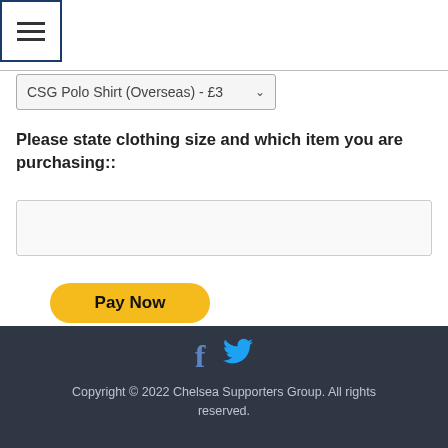[Figure (screenshot): Hamburger menu button with three horizontal lines, bordered in dark blue]
CSG Polo Shirt (Overseas) - £3...
Please state clothing size and which item you are purchasing::
[Figure (screenshot): Text input field (empty)]
[Figure (screenshot): PayPal Pay Now button with card icons (VISA, Mastercard, Amex, Discover)]
Copyright © 2022 Chelsea Supporters Group. All rights reserved.